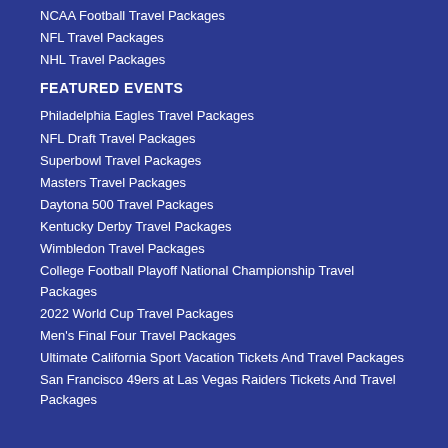NCAA Football Travel Packages
NFL Travel Packages
NHL Travel Packages
FEATURED EVENTS
Philadelphia Eagles Travel Packages
NFL Draft Travel Packages
Superbowl Travel Packages
Masters Travel Packages
Daytona 500 Travel Packages
Kentucky Derby Travel Packages
Wimbledon Travel Packages
College Football Playoff National Championship Travel Packages
2022 World Cup Travel Packages
Men's Final Four Travel Packages
Ultimate California Sport Vacation Tickets And Travel Packages
San Francisco 49ers at Las Vegas Raiders Tickets And Travel Packages